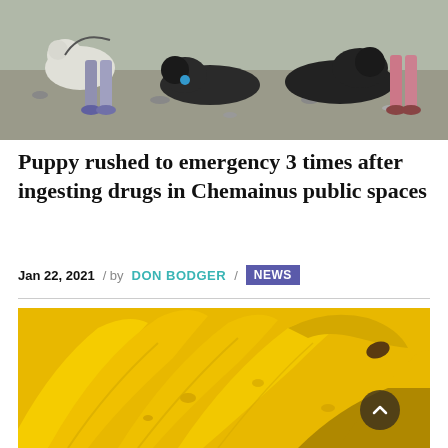[Figure (photo): Three dogs including one white dog and two dark/black fluffy dogs on a gravel path with people's legs visible in the background]
Puppy rushed to emergency 3 times after ingesting drugs in Chemainus public spaces
Jan 22, 2021 / by DON BODGER / NEWS
[Figure (photo): Close-up photograph of a bunch of yellow bananas]